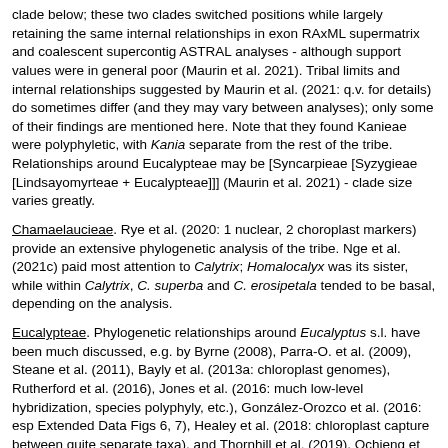clade below; these two clades switched positions while largely retaining the same internal relationships in exon RAxML supermatrix and coalescent supercontig ASTRAL analyses - although support values were in general poor (Maurin et al. 2021). Tribal limits and internal relationships suggested by Maurin et al. (2021: q.v. for details) do sometimes differ (and they may vary between analyses); only some of their findings are mentioned here. Note that they found Kanieae were polyphyletic, with Kania separate from the rest of the tribe. Relationships around Eucalypteae may be [Syncarpieae [Syzygieae [Lindsayomyrteae + Eucalypteae]]] (Maurin et al. 2021) - clade size varies greatly.
Chamaelaucieae. Rye et al. (2020: 1 nuclear, 2 choroplast markers) provide an extensive phylogenetic analysis of the tribe. Nge et al. (2021c) paid most attention to Calytrix; Homalocalyx was its sister, while within Calytrix, C. superba and C. erosipetala tended to be basal, depending on the analysis.
Eucalypteae. Phylogenetic relationships around Eucalyptus s.l. have been much discussed, e.g. by Byrne (2008), Parra-O. et al. (2009), Steane et al. (2011), Bayly et al. (2013a: chloroplast genomes), Rutherford et al. (2016), Jones et al. (2016: much low-level hybridization, species polyphyly, etc.), González-Orozco et al. (2016: esp Extended Data Figs 6, 7), Healey et al. (2018: chloroplast capture between quite separate taxa), and Thornhill et al. (2019). Ochieng et al. (2007) recovered the monophyly of Corymbia using nrITS pseudogene sequences, corroborating relationships using morphology, microsatellites, etc., however, González-Orozco et al. (2016) found that Angophora was nested within Corymbia, although support was not strong, while within Eucalyptus, Symphyomyrtus was paraphyletic. Indeed, the position of Corymbia with respect to Angophora seems particularly uncertain (Schuster et al. 2018; Thornhill et al. 2019; Maurin et al. 2021), and within Corymbia morphology and nrDNA tell one story,